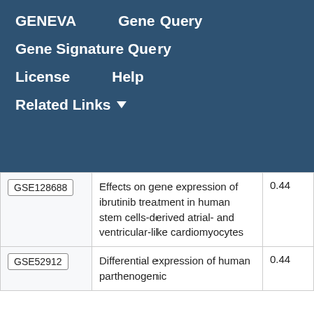GENEVA   Gene Query
Gene Signature Query
License   Help
Related Links ▾
|  | Description | Score |
| --- | --- | --- |
| GSE128688 | Effects on gene expression of ibrutinib treatment in human stem cells-derived atrial- and ventricular-like cardiomyocytes | 0.44 |
| GSE52912 | Differential expression of human parthenogenic | 0.44 |